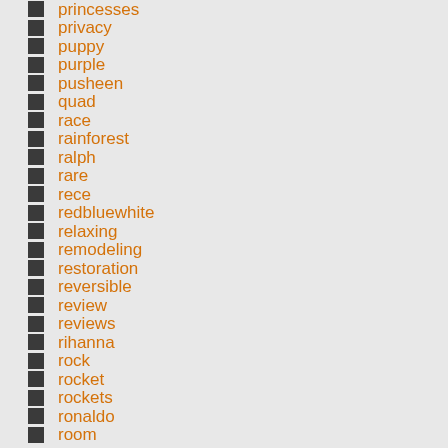princesses
privacy
puppy
purple
pusheen
quad
race
rainforest
ralph
rare
rece
redbluewhite
relaxing
remodeling
restoration
reversible
review
reviews
rihanna
rock
rocket
rockets
ronaldo
room